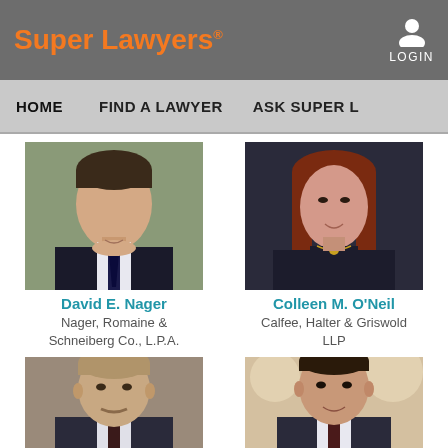Super Lawyers® | LOGIN
HOME | FIND A LAWYER | ASK SUPER L...
[Figure (photo): Professional headshot of David E. Nager, man in dark suit and tie, outdoors background]
David E. Nager
Nager, Romaine & Schneiberg Co., L.P.A.
[Figure (photo): Professional headshot of Colleen M. O'Neil, woman with long auburn hair in dark blazer with necklace]
Colleen M. O'Neil
Calfee, Halter & Griswold LLP
[Figure (photo): Professional headshot of a man with gray-blonde hair and mustache in a suit]
[Figure (photo): Professional headshot of a man in a suit with blurred light background]